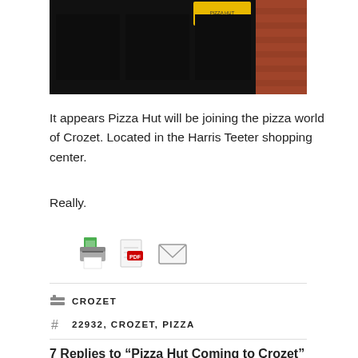[Figure (photo): Photograph of a storefront with dark glass windows and brick wall, with a yellow sign visible at the top]
It appears Pizza Hut will be joining the pizza world of Crozet. Located in the Harris Teeter shopping center.
Really.
[Figure (infographic): Three inline icons: a print icon (printer with green paper), a PDF icon (red PDF badge on document), and an email icon (envelope)]
CROZET
22932, CROZET, PIZZA
7 Replies to “Pizza Hut Coming to Crozet”